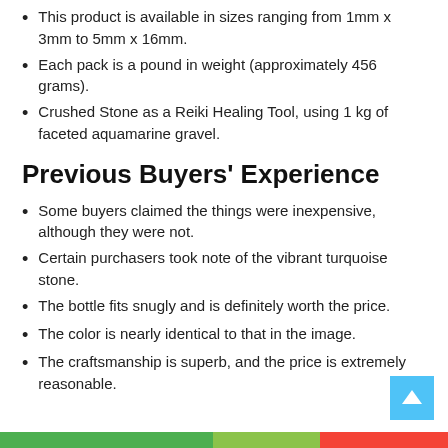This product is available in sizes ranging from 1mm x 3mm to 5mm x 16mm.
Each pack is a pound in weight (approximately 456 grams).
Crushed Stone as a Reiki Healing Tool, using 1 kg of faceted aquamarine gravel.
Previous Buyers' Experience
Some buyers claimed the things were inexpensive, although they were not.
Certain purchasers took note of the vibrant turquoise stone.
The bottle fits snugly and is definitely worth the price.
The color is nearly identical to that in the image.
The craftsmanship is superb, and the price is extremely reasonable.